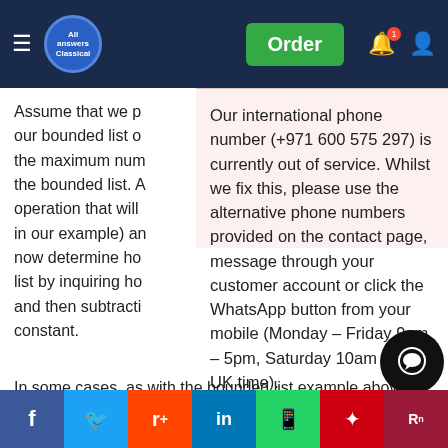All Answers | Order
Assume that we p... our bounded list o... the maximum num... the bounded list. A... operation that will ... in our example) an... now determine ho... list by inquiring ho... and then subtracti... constant.
Our international phone number (+971 600 575 297) is currently out of service. Whilst we fix this, please use the alternative phone numbers provided on the contact page, message through your customer account or click the WhatsApp button from your mobile (Monday – Friday 9am – 5pm, Saturday 10am – 6pm UK time).
August 20, 2022
In some cases, as with the bounded list example above, constants are provided more for convenience than necessity. In other cases, such as in the case of encryption algorithms... an absolute requirement.
[Figure (other): Social sharing bar with Facebook, Twitter, Reddit, LinkedIn, WhatsApp, Mixcloud, and ResearchGate buttons]